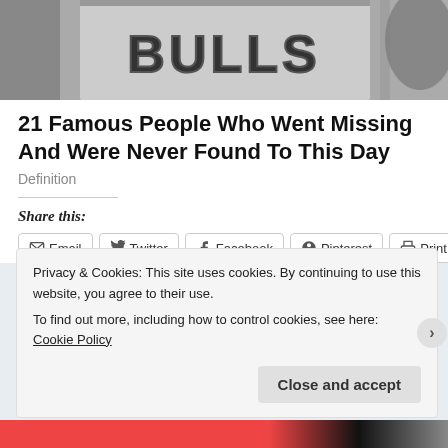[Figure (photo): Black and white photo of a person wearing a Chicago Bulls basketball jersey, cropped to show the jersey text 'BULLS']
21 Famous People Who Went Missing And Were Never Found To This Day
Definition
Share this:
Email | Twitter | Facebook | Pinterest | Print
Privacy & Cookies: This site uses cookies. By continuing to use this website, you agree to their use.
To find out more, including how to control cookies, see here: Cookie Policy
Close and accept